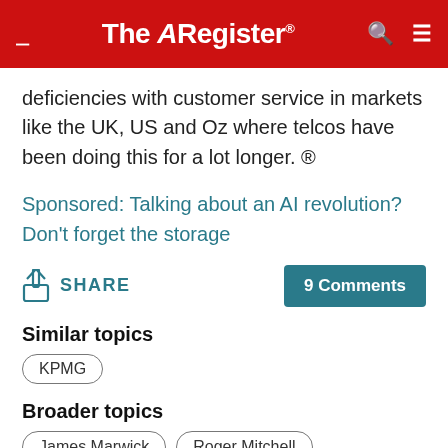The Register
deficiencies with customer service in markets like the UK, US and Oz where telcos have been doing this for a lot longer. ®
Sponsored: Talking about an AI revolution? Don't forget the storage
SHARE   9 Comments
Similar topics
KPMG
Broader topics
James Marwick   Roger Mitchell   William Barclay Peat
Corrections   Send us news